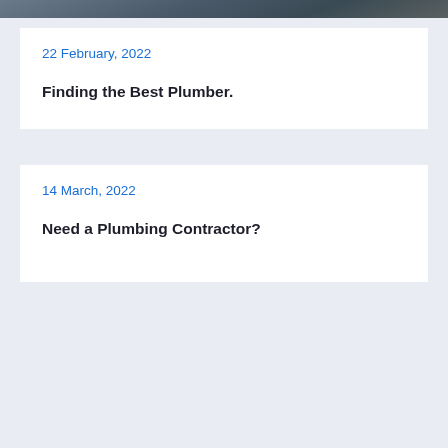[Figure (photo): Photo strip of workers/plumbers at the top of the page]
22 February, 2022
Finding the Best Plumber.
14 March, 2022
Need a Plumbing Contractor?